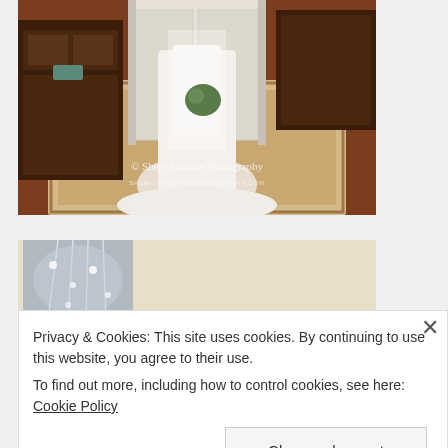[Figure (photo): Wedding photo of a bride in a white lace gown holding a bouquet, standing in an elegant room with dark wood furniture, a patterned rug, hardwood floors, and white paneled doors. Watermark reads '© Sheri Johnson Photography' and 'SHERIJOHNSONPHOTOGRAPHY.COM'.]
[Figure (photo): Partial photo showing an ornate crystal chandelier and an arched architectural detail in a cream-colored ceiling, suggesting an elegant venue.]
Privacy & Cookies: This site uses cookies. By continuing to use this website, you agree to their use.
To find out more, including how to control cookies, see here: Cookie Policy
Close and accept